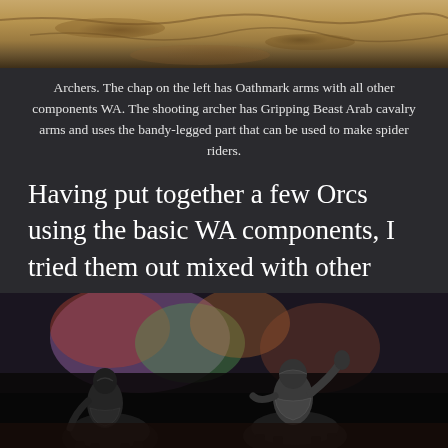[Figure (photo): Top portion of a photo showing painted miniature figures or terrain with sandy/earthy tones]
Archers. The chap on the left has Oathmark arms with all other components WA. The shooting archer has Gripping Beast Arab cavalry arms and uses the bandy-legged part that can be used to make spider riders.
Having put together a few Orcs using the basic WA components, I tried them out mixed with other kits. The Oathmark goblin bodies are marginally bigger but work really nicely with the head and arm variants.
[Figure (photo): Photo of two unpainted metal miniature figures (goblins or orcs on mounts) against a blurred colorful background]